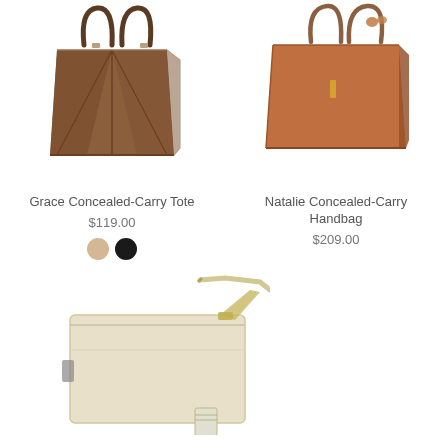[Figure (photo): Brown concealed-carry tote bag with shoulder straps and geometric panel design]
Grace Concealed-Carry Tote
$119.00
[Figure (photo): Two color swatches: tan/beige and black circles]
[Figure (photo): Tan/cognac structured concealed-carry handbag with double handles and gold tag]
Natalie Concealed-Carry Handbag
$209.00
[Figure (photo): Cream/ivory crossbody bag with metallic strap and brand tag]